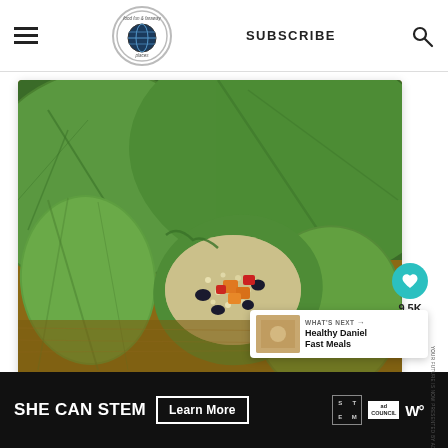food fun & faraway places | SUBSCRIBE
[Figure (photo): Overhead close-up photo of collard green wraps on a wooden cutting board. One wrap is cut open showing a filling of quinoa, black beans, orange and red bell pepper. Whole wraps are stacked behind.]
9.5K
WHAT'S NEXT → Healthy Daniel Fast Meals
SHE CAN STEM   Learn More